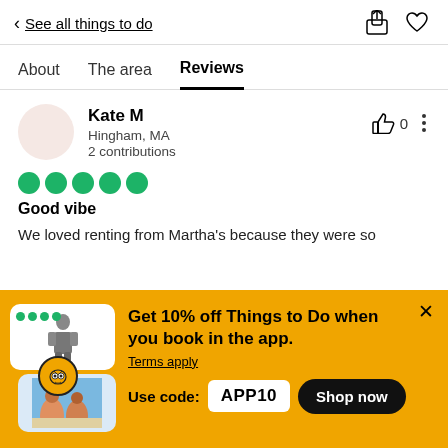< See all things to do
Reviews
Kate M
Hingham, MA
2 contributions
[Figure (other): 5 green filled circle rating dots (5-star equivalent on TripAdvisor)]
Good vibe
We loved renting from Martha's because they were so
[Figure (infographic): TripAdvisor app promo banner with photos of traveler activities and owl logo badge]
Get 10% off Things to Do when you book in the app.
Terms apply
Use code: APP10
Shop now